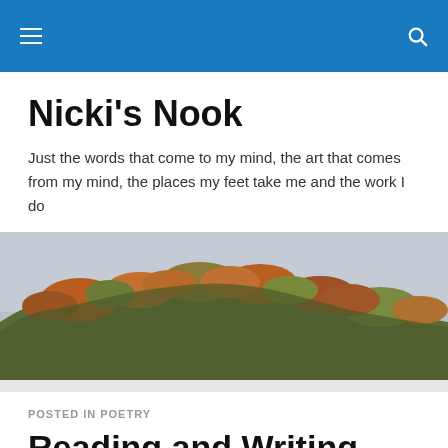Nicki's Nook
Just the words that come to my mind, the art that comes from my mind, the places my feet take me and the work I do
[Figure (photo): Autumn hillside covered in deciduous trees with fall foliage in orange, red and green tones under a grey overcast sky]
POSTED IN POETRY
Reading and Writing